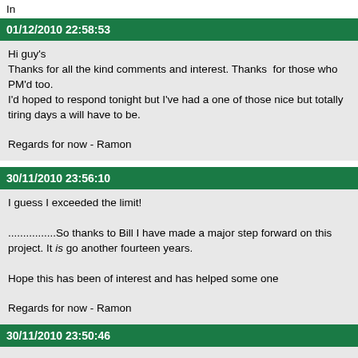In
01/12/2010 22:58:53
Hi guy's
Thanks for all the kind comments and interest. Thanks  for those who PM'd too.
I'd hoped to respond tonight but I've had a one of those nice but totally tiring days a will have to be.

Regards for now - Ramon
30/11/2010 23:56:10
I guess I exceeded the limit!

................So thanks to Bill I have made a major step forward on this project. It is go another fourteen years.

Hope this has been of interest and has helped some one

Regards for now - Ramon
30/11/2010 23:50:46
Hi all,
I had hoped by now to have been well into another pair of scaled up diesel engines forum member Bill Starling  I have recently been well and truly 'side tracked' into tac for far too long.

In 1992! so my notes say I began a Bentley BR2 rotary engine. I knew nothing abou